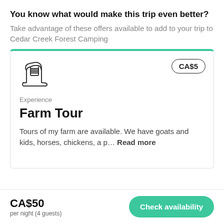You know what would make this trip even better?
Take advantage of these offers available to add to your trip to Cedar Creek Forest Camping
[Figure (illustration): Line drawing icon of a hiking boot]
CA$5
Experience
Farm Tour
Tours of my farm are available. We have goats and kids, horses, chickens, a p… Read more
CA$50
per night (4 guests)
Check availability